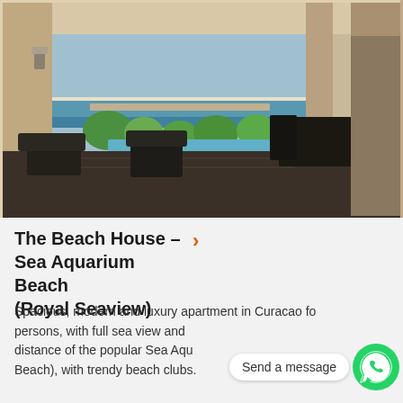[Figure (photo): Interior photo of a luxury apartment terrace/living area with dark furniture (sofas and chairs), open view to tropical beach and ocean with palm trees and blue water, warm beige walls and ceiling, dark tile floor.]
The Beach House – Sea Aquarium Beach (Royal Seaview)
Spacious, modern and luxury apartment in Curacao fo persons, with full sea view and distance of the popular Sea Aquarium Beach (Mamb Beach), with trendy beach clubs.